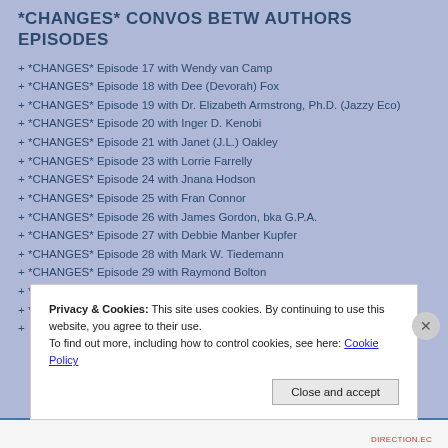*CHANGES* CONVOS BETW AUTHORS EPISODES
+ *CHANGES* Episode 17 with Wendy van Camp
+ *CHANGES* Episode 18 with Dee (Devorah) Fox
+ *CHANGES* Episode 19 with Dr. Elizabeth Armstrong, Ph.D. (Jazzy Eco)
+ *CHANGES* Episode 20 with Inger D. Kenobi
+ *CHANGES* Episode 21 with Janet (J.L.) Oakley
+ *CHANGES* Episode 23 with Lorrie Farrelly
+ *CHANGES* Episode 24 with Jnana Hodson
+ *CHANGES* Episode 25 with Fran Connor
+ *CHANGES* Episode 26 with James Gordon, bka G.P.A.
+ *CHANGES* Episode 27 with Debbie Manber Kupfer
+ *CHANGES* Episode 28 with Mark W. Tiedemann
+ *CHANGES* Episode 29 with Raymond Bolton
+ *CHANGES* Episode 30 with Brian Guthrie
+ *CHANGES* Episode 31 with Mary Smith
Privacy & Cookies: This site uses cookies. By continuing to use this website, you agree to their use. To find out more, including how to control cookies, see here: Cookie Policy
Close and accept